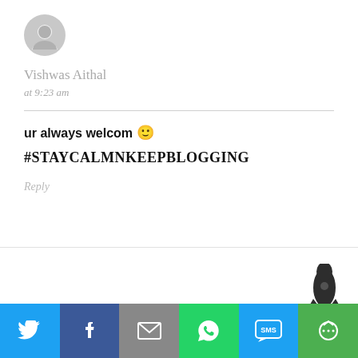[Figure (illustration): Grey circular avatar/profile icon placeholder]
Vishwas Aithal
at 9:23 am
ur always welcom 🙂
#STAYCALMNKEEPBLOGGING
Reply
[Figure (illustration): Rocket ship dark icon]
[Figure (infographic): Social share bar with Twitter, Facebook, Email, WhatsApp, SMS, and More buttons]